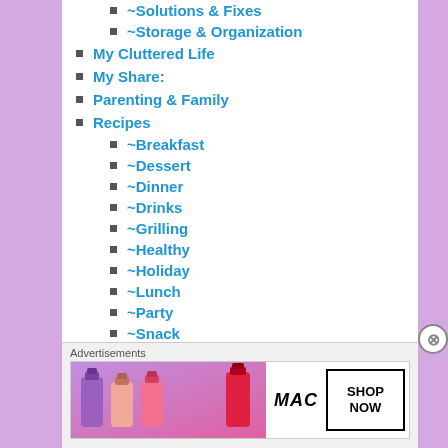~Solutions & Fixes
~Storage & Organization
My Cluttered Life
My Share:
Parenting & Family
Recipes
~Breakfast
~Dessert
~Dinner
~Drinks
~Grilling
~Healthy
~Holiday
~Lunch
~Party
~Snack
Sweet As Icing On A Cake
Advertisements
[Figure (photo): MAC cosmetics advertisement showing lipsticks in purple, peach, pink, and red colors with MAC logo and SHOP NOW button]